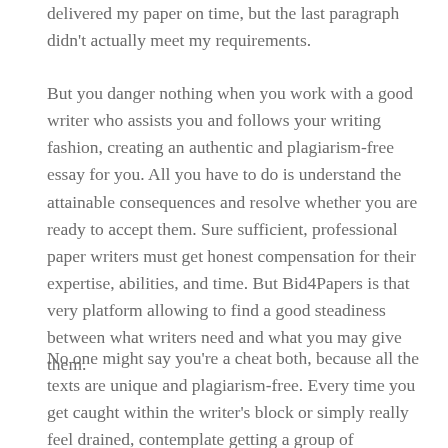delivered my paper on time, but the last paragraph didn't actually meet my requirements.
But you danger nothing when you work with a good writer who assists you and follows your writing fashion, creating an authentic and plagiarism-free essay for you. All you have to do is understand the attainable consequences and resolve whether you are ready to accept them. Sure sufficient, professional paper writers must get honest compensation for their expertise, abilities, and time. But Bid4Papers is that very platform allowing to find a good steadiness between what writers need and what you may give them.
No one might say you're a cheat both, because all the texts are unique and plagiarism-free. Every time you get caught within the writer's block or simply really feel drained, contemplate getting a group of educational penmen on your facet. 1000s of students have already